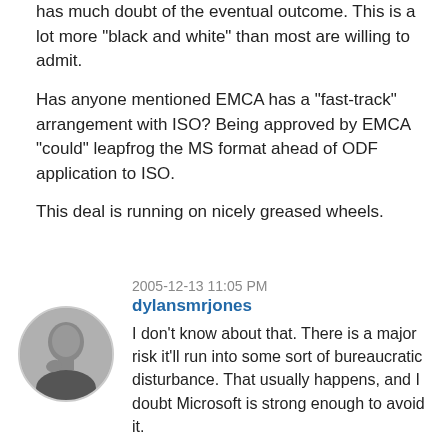has much doubt of the eventual outcome. This is a lot more "black and white" than most are willing to admit.
Has anyone mentioned EMCA has a "fast-track" arrangement with ISO? Being approved by EMCA "could" leapfrog the MS format ahead of ODF application to ISO.
This deal is running on nicely greased wheels.
2005-12-13 11:05 PM
dylansmrjones
I don't know about that. There is a major risk it'll run into some sort of bureaucratic disturbance. That usually happens, and I doubt Microsoft is strong enough to avoid it.
I'd like to see my statement